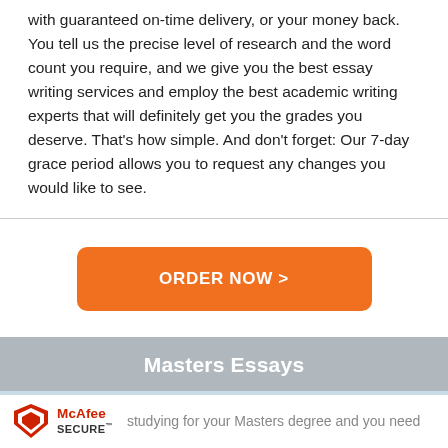with guaranteed on-time delivery, or your money back. You tell us the precise level of research and the word count you require, and we give you the best essay writing services and employ the best academic writing experts that will definitely get you the grades you deserve. That's how simple. And don't forget: Our 7-day grace period allows you to request any changes you would like to see.
[Figure (other): Orange rounded rectangle button with text ORDER NOW >]
Masters Essays
[Figure (logo): McAfee SECURE logo with shield icon]
studying for your Masters degree and you need